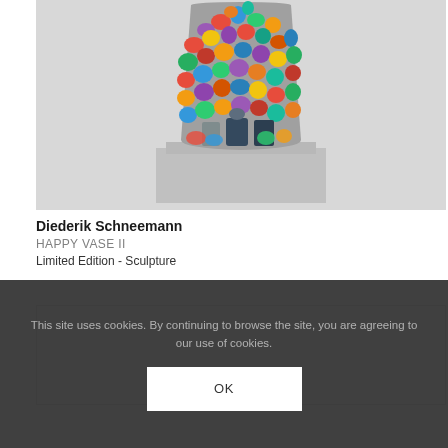[Figure (photo): A sculpture by Diederik Schneemann titled 'Happy Vase II' — a vase form densely covered with colorful toy figures and plastic objects, displayed on a white pedestal against a light gray background.]
Diederik Schneemann
HAPPY VASE II
Limited Edition - Sculpture
[Figure (other): A partially visible artwork card/thumbnail below the main listing.]
This site uses cookies. By continuing to browse the site, you are agreeing to our use of cookies.
OK